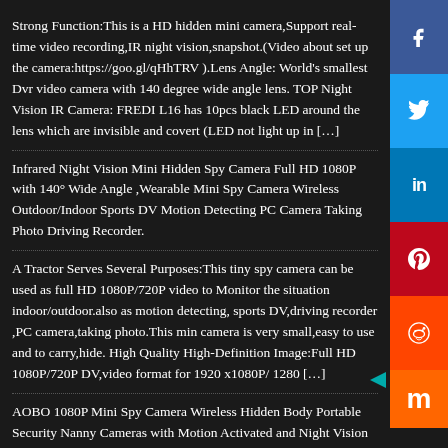Strong Function:This is a HD hidden mini camera,Support real-time video recording,IR night vision,snapshot.(Video about set up the camera:https://goo.gl/qHhTRV ).Lens Angle: World's smallest Dvr video camera with 140 degree wide angle lens. TOP Night Vision IR Camera: FREDI L16 has 10pcs black LED around the lens which are invisible and covert (LED not light up in […]
Infrared Night Vision Mini Hidden Spy Camera Full HD 1080P with 140° Wide Angle ,Wearable Mini Spy Camera Wireless Outdoor/Indoor Sports DV Motion Detecting PC Camera Taking Photo Driving Recorder.
A Tractor Serves Several Purposes:This tiny spy camera can be used as full HD 1080P/720P video to Monitor the situation indoor/outdoor.also as motion detecting, sports DV,driving recorder ,PC camera,taking photo.This min camera is very small,easy to use and to carry,hide. High Quality High-Definition Image:Full HD 1080P/720P DV,video format for 1920 x1080P/ 1280 […]
AOBO 1080P Mini Spy Camera Wireless Hidden Body Portable Security Nanny Cameras with Motion Activated and Night Vision Indoor Super Small HD Covert Tiny Spy Cam for Home Office and Car Surveillance